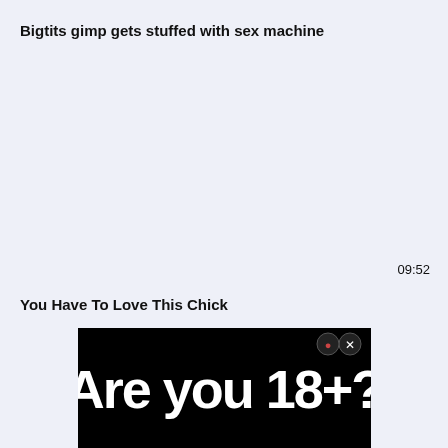Bigtits gimp gets stuffed with sex machine
09:52
You Have To Love This Chick
[Figure (screenshot): Black advertisement overlay with bold white text reading 'Are you 18+?' with close button icons in top right corner]